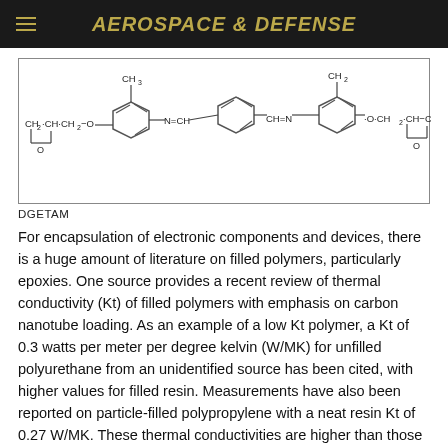AEROSPACE & DEFENSE
[Figure (engineering-diagram): Chemical structure diagram of DGETAM (diglycidyl ether of tetraaminobiphenyl or similar), showing two benzene rings connected by N=CH and CH=N groups, with epoxide groups (CH2-CH-CH2-O) on each end and methyl (CH3/CH2) substituents on the rings.]
DGETAM
For encapsulation of electronic components and devices, there is a huge amount of literature on filled polymers, particularly epoxies. One source provides a recent review of thermal conductivity (Kt) of filled polymers with emphasis on carbon nanotube loading. As an example of a low Kt polymer, a Kt of 0.3 watts per meter per degree kelvin (W/MK) for unfilled polyurethane from an unidentified source has been cited, with higher values for filled resin. Measurements have also been reported on particle-filled polypropylene with a neat resin Kt of 0.27 W/MK. These thermal conductivities are higher than those of most epoxies, and much lower than those of metals and